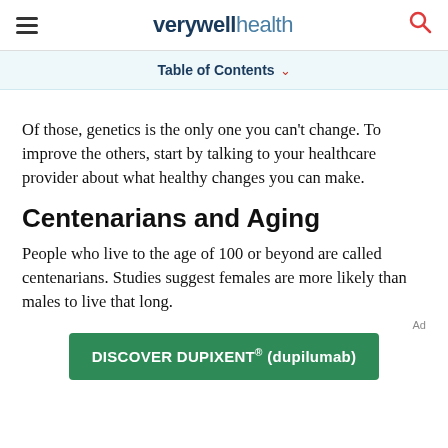verywell health
Table of Contents
Of those, genetics is the only one you can't change. To improve the others, start by talking to your healthcare provider about what healthy changes you can make.
Centenarians and Aging
People who live to the age of 100 or beyond are called centenarians. Studies suggest females are more likely than males to live that long.
[Figure (other): Green advertisement banner reading DISCOVER DUPIXENT® (dupilumab)]